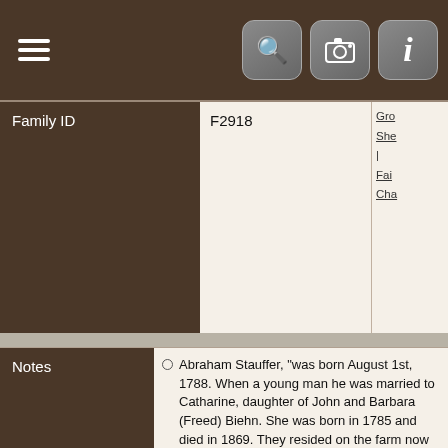Family ID  F2918
Notes
Abraham Stauffer, "was born August 1st, 1788. When a young man he was married to Catharine, daughter of John and Barbara (Freed) Biehn. She was born in 1785 and died in 1869. They resided on the farm now owned by Mr. Bear, near Doon, Ontario, where they raised their family. He died about the year 1858. To them were born six children"

Eby, Ezra E. (1895). A biographical history of Waterloo township and other townships of the county: being a history of the early settlers and their descendants, mostly all of Pennsylvania Dutch origin: as also much other unpublished historical information chiefly of a local character. Berlin [Kitchener, Ont.]: [s.n.].

Abraham's birth is also given as 8th January, 1788.

A-2-70 Abraham Stauffer The Last Will and Testament and Codicil of Abraham Stauffer, the oldest son of the...